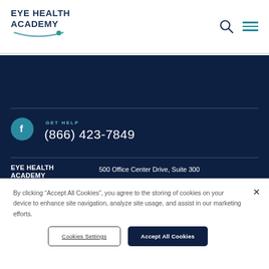[Figure (logo): Eye Health Academy logo with teal arc underline]
[Figure (other): Search icon and hamburger menu icon in dark navy header]
[Figure (logo): Facebook circular teal icon with lowercase f]
GET HELP
(866) 423-7849
[Figure (logo): Eye Health Academy footer logo white text with teal arc]
500 Office Center Drive, Suite 300
Fort Washington, PA 19034
By clicking “Accept All Cookies”, you agree to the storing of cookies on your device to enhance site navigation, analyze site usage, and assist in our marketing efforts.
Cookies Settings
Accept All Cookies